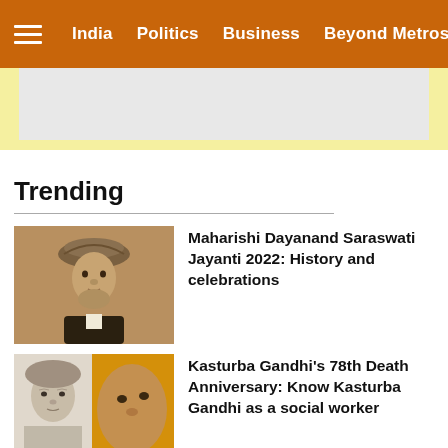India   Politics   Business   Beyond Metros
[Figure (other): Yellow and gray advertisement banner area]
Trending
[Figure (photo): Sepia portrait photograph of Maharishi Dayanand Saraswati wearing a turban]
Maharishi Dayanand Saraswati Jayanti 2022: History and celebrations
[Figure (photo): Photo collage with portrait of Kasturba Gandhi and a book cover on orange background with text Kasturba Gandhi]
Kasturba Gandhi's 78th Death Anniversary: Know Kasturba Gandhi as a social worker